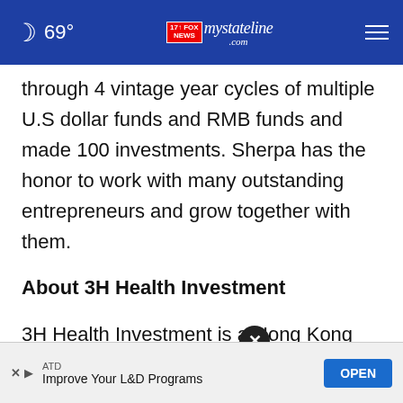69° mystateline.com NEWS
through 4 vintage year cycles of multiple U.S dollar funds and RMB funds and made 100 investments. Sherpa has the honor to work with many outstanding entrepreneurs and grow together with them.
About 3H Health Investment
3H Health Investment is a Hong Kong and Shanghai based healthcare venture capital firm. It focuses and invests in emerging fields of science and medicine to
ATD Improve Your L&D Programs OPEN